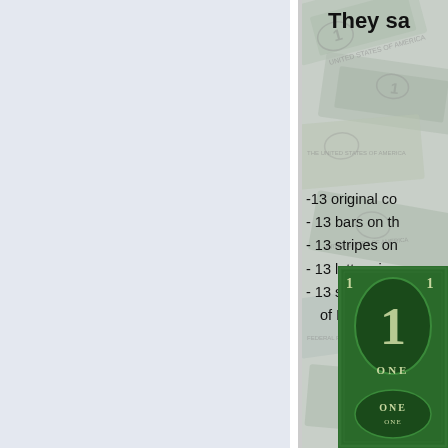[Figure (photo): Left panel with light blue-grey background, blank space]
[Figure (photo): Right panel showing US dollar bills as background with title 'They sa...' and list of 13 facts, plus a close-up image of a dollar bill in the bottom right corner]
They sa
-13 original co
- 13 bars on th
- 13 stripes on
- 13 letters in
- 13 signers of
of Independe